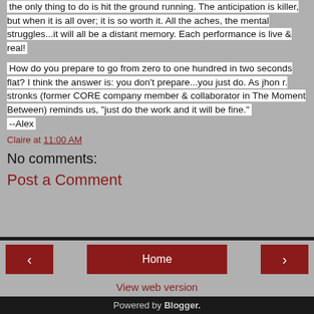the only thing to do is hit the ground running.  The anticipation is killer, but when it is all over; it is so worth it.  All the aches, the mental struggles...it will all be a distant memory.  Each performance is live & real!
How do you prepare to go from zero to one hundred in two seconds flat?  I think the answer is: you don't prepare...you just do.  As jhon r. stronks (former CORE company member & collaborator in The Moment Between) reminds us, "just do the work and it will be fine."
--Alex
Claire at 11:00 AM
No comments:
Post a Comment
< Home > View web version Powered by Blogger.